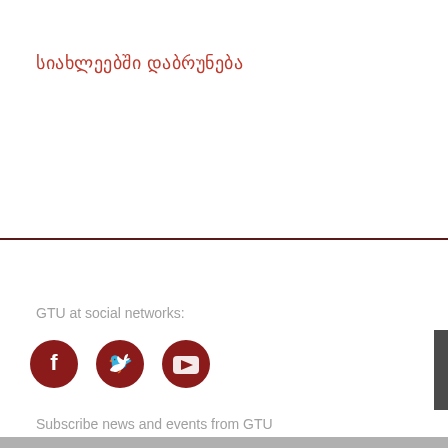სიახლეებshi დაბრუნება
GTU at social networks:
[Figure (illustration): Three dark red circular social media icons: Facebook (f), Twitter (bird), and YouTube (play button)]
Subscribe news and events from GTU